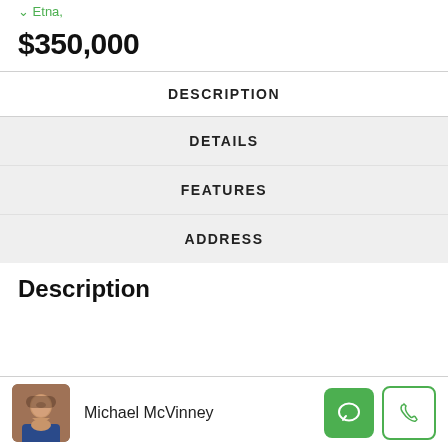← Etna,
$350,000
DESCRIPTION
DETAILS
FEATURES
ADDRESS
Description
Michael McVinney